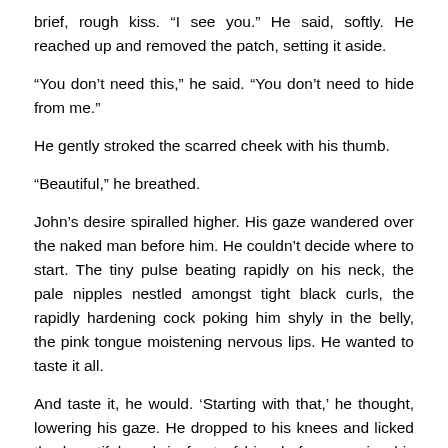brief, rough kiss. “I see you.” He said, softly. He reached up and removed the patch, setting it aside.
“You don’t need this,” he said. “You don’t need to hide from me.”
He gently stroked the scarred cheek with his thumb.
“Beautiful,” he breathed.
John’s desire spiralled higher. His gaze wandered over the naked man before him. He couldn’t decide where to start. The tiny pulse beating rapidly on his neck, the pale nipples nestled amongst tight black curls, the rapidly hardening cock poking him shyly in the belly, the pink tongue moistening nervous lips. He wanted to taste it all.
And taste it, he would. ‘Starting with that,’ he thought, lowering his gaze. He dropped to his knees and licked the beautiful cock in front of him, before opening his mouth and taking in as much as he could, relishing in the long, low moan this elicited from his lover. Sucking lightly, he slowly slid his mouth up and down the shaft. Every now and then, he lightly flicked the tip with his